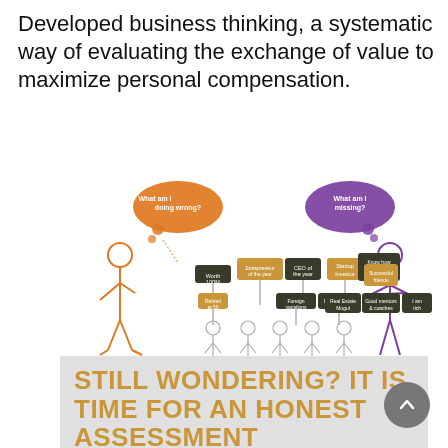Developed business thinking, a systematic way of evaluating the exchange of value to maximize personal compensation.
[Figure (illustration): Illustration of two figures on opposite sides with thought bubbles. Left figure (orange) thinks 'What am I doing wrong?' Right figure (purple) thinks 'What am I missing?' Between them stand multiple people holding signs with labels: 'Worth 100M', 'Entrepreneur of the year', 'CEO of the year', 'Startup investor', 'Know how to make more money', 'Successful friends', 'Retired at 50', 'Foreign vacations', 'Distinguished Alum', 'Real Estate Mogul', 'Good mentors & coaches', 'I am rich'.]
STILL WONDERING? IT IS TIME FOR AN HONEST ASSESSMENT